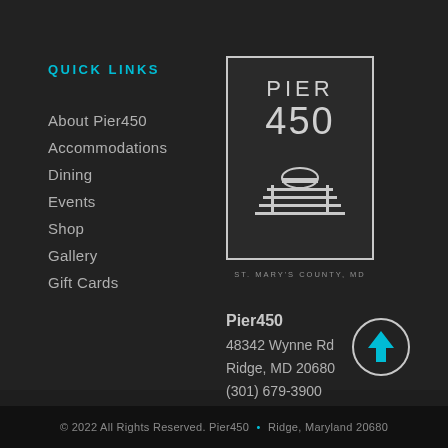QUICK LINKS
About Pier450
Accommodations
Dining
Events
Shop
Gallery
Gift Cards
[Figure (logo): Pier 450 logo with text PIER 450 and a stylized dock/pier illustration, with subtitle ST. MARY'S COUNTY, MD]
Pier450
48342 Wynne Rd
Ridge, MD 20680
(301) 679-3900
Hours of Operation
[Figure (other): Circle back-to-top button with upward arrow in teal on dark background]
© 2022 All Rights Reserved. Pier450 • Ridge, Maryland 20680